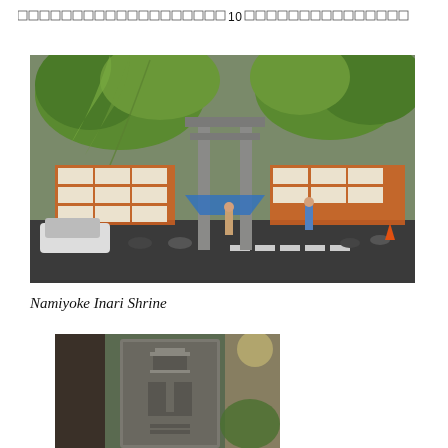□□□□□□□□□□□□□□□□□□□□□□□□□10□□□□□□□□□□□□□□□□□□□□
[Figure (photo): Exterior view of Namiyoke Inari Shrine showing a torii gate, orange lantern racks, trees, a blue tent, and people on the street with bicycles and a white car.]
Namiyoke Inari Shrine
[Figure (photo): Close-up of a stone monument with carved Japanese kanji characters (吉野 visible), surrounded by trees.]